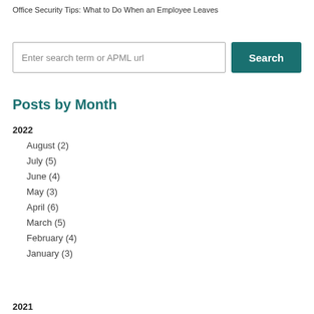Office Security Tips: What to Do When an Employee Leaves
[Figure (other): Search input field with placeholder 'Enter search term or APML url' and a teal Search button]
Posts by Month
2022
August (2)
July (5)
June (4)
May (3)
April (6)
March (5)
February (4)
January (3)
2021